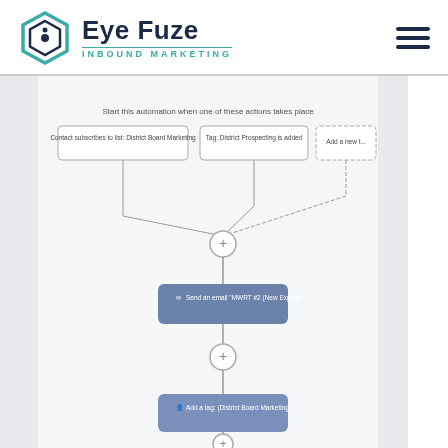[Figure (logo): Eye Fuze Inbound Marketing logo with teal hexagon icon]
[Figure (flowchart): Marketing automation flowchart showing: Start trigger nodes (Contact subscribes to list District Board Marketing, Tag District Prospecting is added, Add a new...) converging to a plus node, then Send an email MWRT #2 (New Export) action box, then another plus node, then Add a tag (District Board Marketing) action box, then another plus node at bottom.]